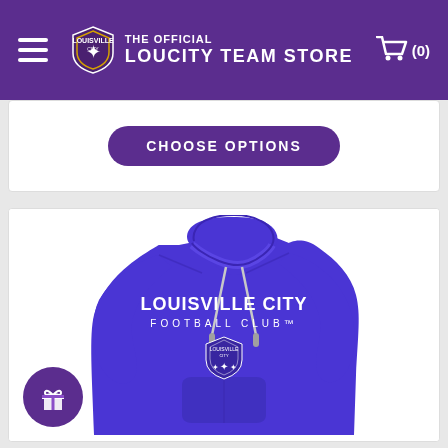THE OFFICIAL LOUCITY TEAM STORE
[Figure (screenshot): CHOOSE OPTIONS button in purple rounded rectangle]
[Figure (photo): Purple Louisville City Football Club hoodie with text LOUISVILLE CITY FOOTBALL CLUB and team crest logo on chest, with silver drawstrings]